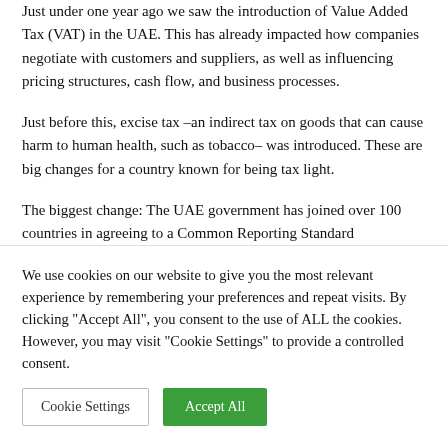Just under one year ago we saw the introduction of Value Added Tax (VAT) in the UAE. This has already impacted how companies negotiate with customers and suppliers, as well as influencing pricing structures, cash flow, and business processes.
Just before this, excise tax –an indirect tax on goods that can cause harm to human health, such as tobacco– was introduced. These are big changes for a country known for being tax light.
The biggest change: The UAE government has joined over 100 countries in agreeing to a Common Reporting Standard
We use cookies on our website to give you the most relevant experience by remembering your preferences and repeat visits. By clicking "Accept All", you consent to the use of ALL the cookies. However, you may visit "Cookie Settings" to provide a controlled consent.